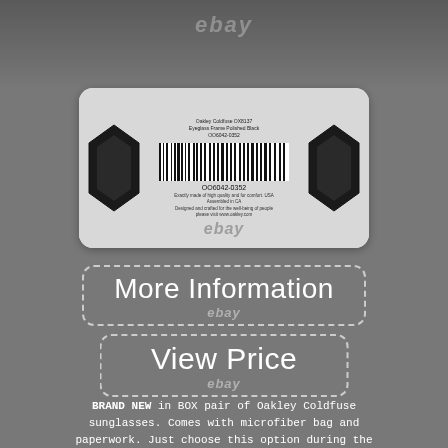[Figure (photo): eBay watermark at top over grey sunglasses background]
[Figure (photo): Close-up photo of Oakley sunglasses product label with barcode showing SKU OO6042-0352, placed in a rounded rectangle, with hexagonal sunglass frames visible on both sides and an eBay watermark]
More Information
ebay
View Price
ebay
BRAND NEW in BOX pair of Oakley Coldfuse sunglasses. Comes with microfiber bag and paperwork. Just choose this option during the checkout.
Just add the item to your cart to see the total cost. We are NOT an authorized dealer of ANY brand. The item "NEW Oakley Coldfuse sunglasses